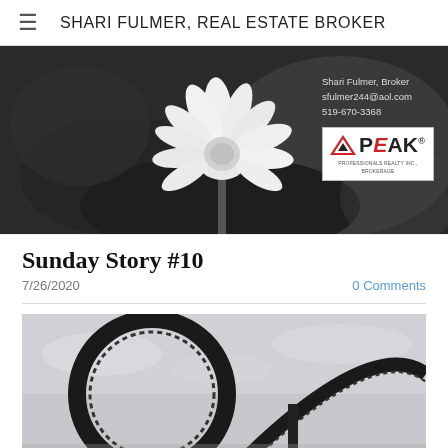SHARI FULMER, REAL ESTATE BROKER
[Figure (photo): Black and white photo of a white flower (daisy-like) with dark blurred background, with broker contact info overlay: Shari Fulmer, Broker / sfulmer244@aol.com / 519-670-3368 and Peak Professionals Realty Inc., Brokerage logo]
Sunday Story #10
7/26/2020
0 Comments
[Figure (photo): Black and white photo of a roller coaster loop structure against a cloudy sky]